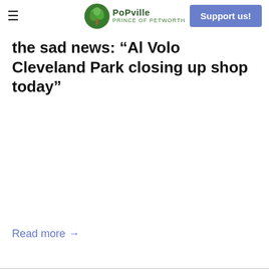PoPville
the sad news: "Al Volo Cleveland Park closing up shop today"
Read more →